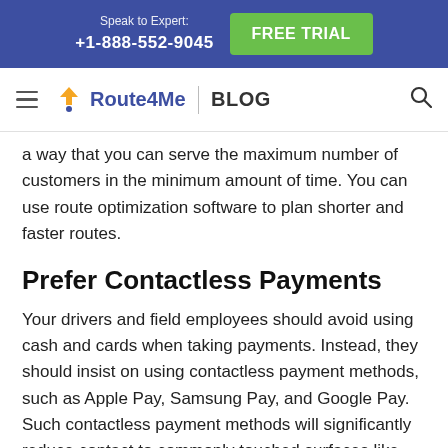Speak to Expert: +1-888-552-9045 | FREE TRIAL
Route4Me | BLOG
a way that you can serve the maximum number of customers in the minimum amount of time. You can use route optimization software to plan shorter and faster routes.
Prefer Contactless Payments
Your drivers and field employees should avoid using cash and cards when taking payments. Instead, they should insist on using contactless payment methods, such as Apple Pay, Samsung Pay, and Google Pay. Such contactless payment methods will significantly reduce contact to commonly touched surfaces like credit card terminals at checkout, thereby reducing